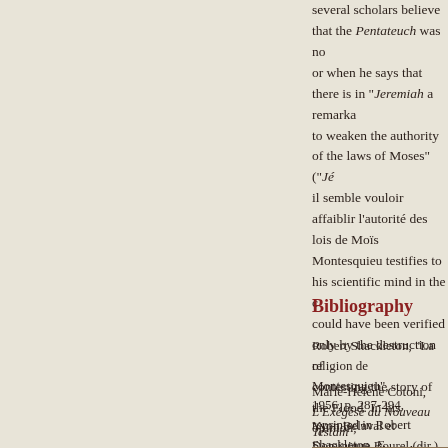several scholars believe that the Pentateuch was no or when he says that there is in "Jeremiah" a remarka to weaken the authority of the laws of Moses" ("Jé il semble vouloir affaiblir l'autorité des lois de Moïs Montesquieu testifies to his scientific mind in the c could have been verified only by the destruction of contesting the story of the Flood. In his opinion, " impossible to conceive of that" ("le Déluge n'était p de le concevoir", Spic., no. 404), and he demonstrat Torricelli's experiments, the flood described in Gen experience.
Bibliography
Robert Shackleton, "La religion de Montesquieu", 1956, p. 287-294, reprinted in Robert Shackleton, E Enlightenment, David Gilson and Martin Smith ed.,
Marie-Hélène Cotoni, L'Exégèse du Nouveau Testam siècle, Oxford : Voltaire Foundation,1984.
Yvon Belaval et Dominique Bourel (dir.), Le Siècle d Beauchesne, 1986.